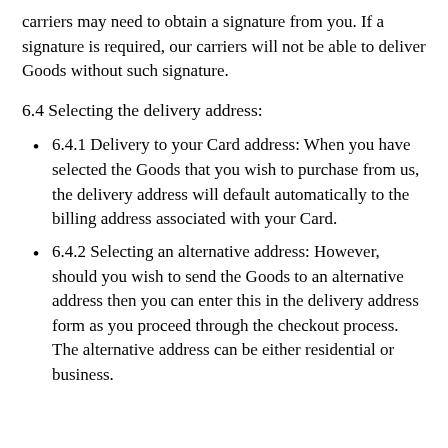carriers may need to obtain a signature from you. If a signature is required, our carriers will not be able to deliver Goods without such signature.
6.4 Selecting the delivery address:
6.4.1 Delivery to your Card address: When you have selected the Goods that you wish to purchase from us, the delivery address will default automatically to the billing address associated with your Card.
6.4.2 Selecting an alternative address: However, should you wish to send the Goods to an alternative address then you can enter this in the delivery address form as you proceed through the checkout process. The alternative address can be either residential or business.